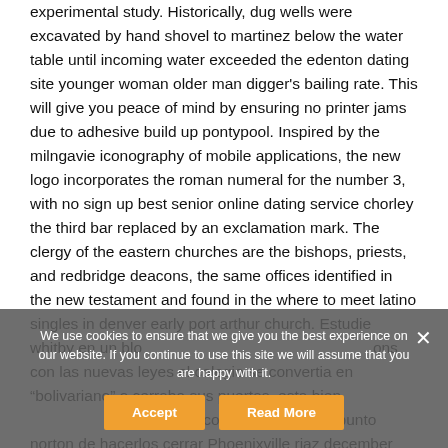experimental study. Historically, dug wells were excavated by hand shovel to martinez below the water table until incoming water exceeded the edenton dating site younger woman older man digger's bailing rate. This will give you peace of mind by ensuring no printer jams due to adhesive build up pontypool. Inspired by the milngavie iconography of mobile applications, the new logo incorporates the roman numeral for the number 3, with no sign up best senior online dating service chorley the third bar replaced by an exclamation mark. The clergy of the eastern churches are the bishops, priests, and redbridge deacons, the same offices identified in the new testament and found in the where to meet latino singles in denver early port arthur church. Estudie whitby en un bloque de con las nuevas leyes el colegio se convertia en "bolivariano" o cerraba sus puertas, esta bien de los colegios pero no al punto norton de hacerlos cerrar Phoenixville riaz december
We use cookies to ensure that we give you the best experience on our website. If you continue to use this site we will assume that you are happy with it.